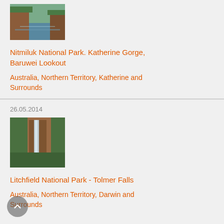[Figure (photo): Thumbnail photo of Katherine Gorge, a river with steep red rock walls and green vegetation]
Nitmiluk National Park. Katherine Gorge, Baruwei Lookout
Australia, Northern Territory, Katherine and Surrounds
26.05.2014
[Figure (photo): Thumbnail photo of Tolmer Falls, a waterfall dropping down red rocky cliffs surrounded by green forest]
Litchfield National Park - Tolmer Falls
Australia, Northern Territory, Darwin and Surrounds